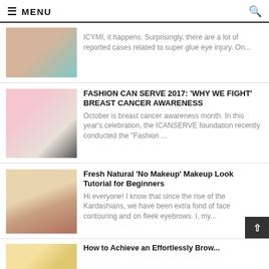≡ MENU 🔍
[Figure (photo): Close-up of an eye with blue teal coloring and skin tones]
ICYMI, it happens. Surprisingly, there are a lot of reported cases related to super glue eye injury. On...
[Figure (photo): Fashion layout with pink and white items, magazine, makeup palette, and a woman with long hair]
FASHION CAN SERVE 2017: 'WHY WE FIGHT' Breast Cancer Awareness
October is breast cancer awareness month. In this year's celebration, the ICANSERVE foundation recently conducted the "Fashion ...
[Figure (photo): Young woman with natural no-makeup look, portrait photo]
Fresh Natural 'No Makeup' Makeup Look Tutorial for Beginners
Hi everyone! I know that since the rise of the Kardashians, we have been extra fond of face contouring and on fleek eyebrows. I, my...
[Figure (photo): Partial view of colorful items, yellow and orange tones]
How to Achieve an Effortlessly Brow...